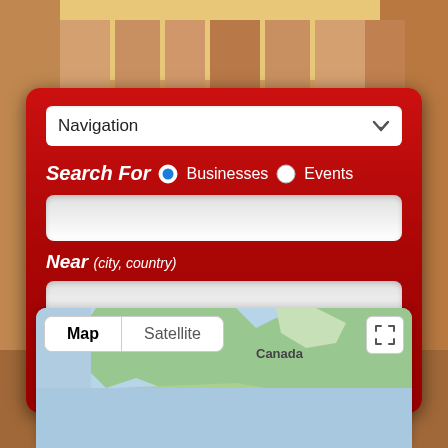[Figure (screenshot): Website UI screenshot showing a red search panel with Navigation dropdown, Search For radio buttons (Businesses selected, Events), two text input fields, and a Search button. Below is a Google Maps embed with Map/Satellite toggle.]
Navigation
Search For  Businesses  Events
Near (city, country)
Search
» Choreographers
Map  Satellite
Canada